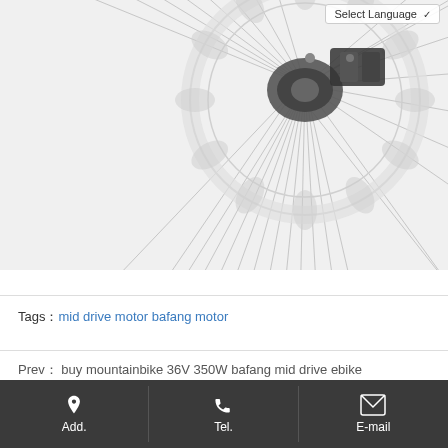[Figure (photo): Close-up photograph of a bicycle wheel hub showing a disc brake rotor with spokes radiating outward. The brake caliper and rotor are silver/white colored against a white background.]
Select Language
Tags：mid drive motor bafang motor
Prev： buy mountainbike 36V 350W bafang mid drive ebike A6AH26MD
Add.   Tel.   E-mail